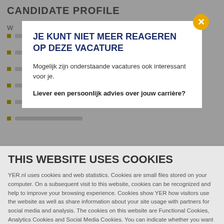CANDIDATE PROFILE
W
[Figure (screenshot): Modal dialog with close button (X). Title: JE KUNT NIET MEER REAGEREN OP DEZE VACATURE. Text: Mogelijk zijn onderstaande vacatures ook interessant voor je. Bold text: Liever een persoonlijk advies over jouw carrière?]
THIS WEBSITE USES COOKIES
YER.nl uses cookies and web statistics. Cookies are small files stored on your computer. On a subsequent visit to this website, cookies can be recognized and help to improve your browsing experience. Cookies show YER how visitors use the website as well as share information about your site usage with partners for social media and analysis. The cookies on this website are Functional Cookies, Analytics Cookies and Social Media Cookies. You can indicate whether you want Strictly Necessary Cookies or All Cookies.
Use necessary cookies only
Allow all cookies
Show details